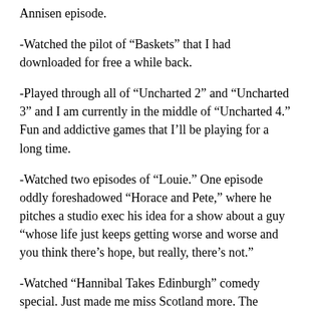Annisen episode.
-Watched the pilot of “Baskets” that I had downloaded for free a while back.
-Played through all of “Uncharted 2” and “Uncharted 3” and I am currently in the middle of “Uncharted 4.” Fun and addictive games that I’ll be playing for a long time.
-Watched two episodes of “Louie.” One episode oddly foreshadowed “Horace and Pete,” where he pitches a studio exec his idea for a show about a guy “whose life just keeps getting worse and worse and you think there’s hope, but really, there’s not.”
-Watched “Hannibal Takes Edinburgh” comedy special. Just made me miss Scotland more. The comedy was ajite